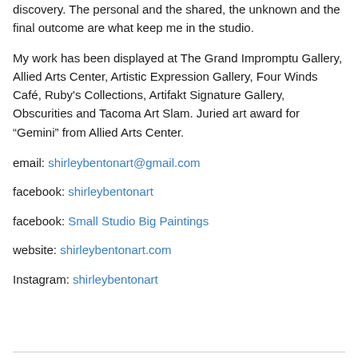discovery. The personal and the shared, the unknown and the final outcome are what keep me in the studio.
My work has been displayed at The Grand Impromptu Gallery, Allied Arts Center, Artistic Expression Gallery, Four Winds Café, Ruby's Collections, Artifakt Signature Gallery, Obscurities and Tacoma Art Slam. Juried art award for “Gemini” from Allied Arts Center.
email: shirleybentonart@gmail.com
facebook: shirleybentonart
facebook: Small Studio Big Paintings
website: shirleybentonart.com
Instagram: shirleybentonart